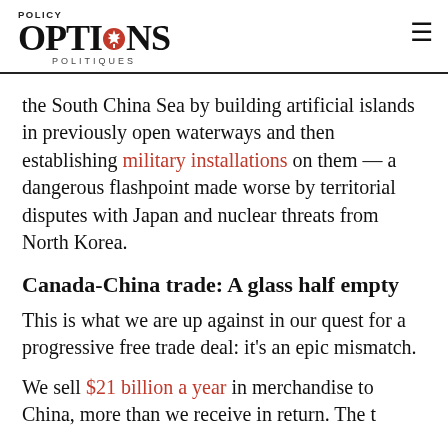POLICY OPTIONS POLITIQUES
the South China Sea by building artificial islands in previously open waterways and then establishing military installations on them — a dangerous flashpoint made worse by territorial disputes with Japan and nuclear threats from North Korea.
Canada-China trade: A glass half empty
This is what we are up against in our quest for a progressive free trade deal: it's an epic mismatch.
We sell $21 billion a year in merchandise to China, more than we receive in return. The t...